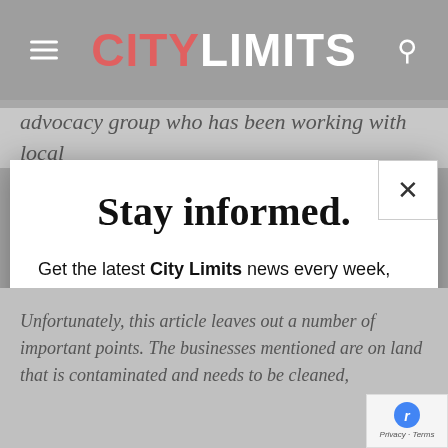CITY LIMITS
advocacy group who has been working with local
Stay informed.
Get the latest City Limits news every week, straight to your inbox.
Enter your email...
SIGN UP
We do not sell or share your information with anyone.
Unfortunately, this article leaves out a number of important points. The businesses mentioned are on land that is contaminated and needs to be cleaned,